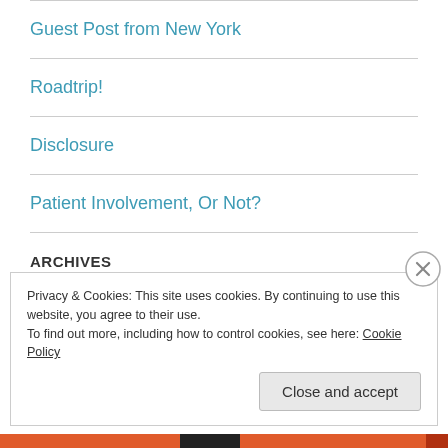Guest Post from New York
Roadtrip!
Disclosure
Patient Involvement, Or Not?
ARCHIVES
Privacy & Cookies: This site uses cookies. By continuing to use this website, you agree to their use.
To find out more, including how to control cookies, see here: Cookie Policy
Close and accept